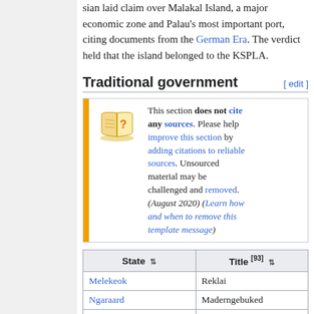sian laid claim over Malakal Island, a major economic zone and Palau's most important port, citing documents from the German Era. The verdict held that the island belonged to the KSPLA.
Traditional government
[Figure (infographic): Wikipedia notice box with orange left bar, open book icon with question mark, warning text: 'This section does not cite any sources. Please help improve this section by adding citations to reliable sources. Unsourced material may be challenged and removed. (August 2020) (Learn how and when to remove this template message)']
| State | Title [93] |
| --- | --- |
| Melekeok | Reklai |
| Ngaraard | Maderngebuked |
| Ngerchelong | Uongerchetei |